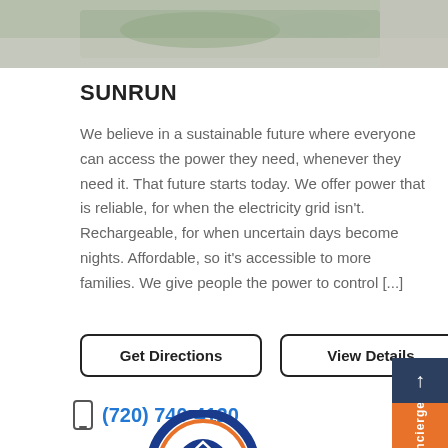[Figure (photo): Top photo showing outdoor/garden scene with planted area]
SUNRUN
We believe in a sustainable future where everyone can access the power they need, whenever they need it. That future starts today. We offer power that is reliable, for when the electricity grid isn't. Rechargeable, for when uncertain days become nights. Affordable, so it's accessible to more families. We give people the power to control [...]
Get Directions
View Details
(720) 740-4120
[Figure (logo): Sunrun circular logo with house icon, blue and orange ring]